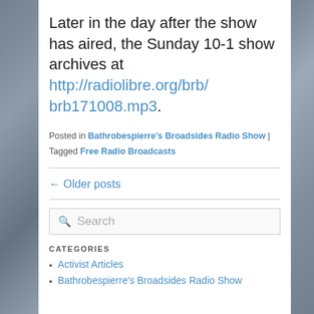Later in the day after the show has aired, the Sunday 10-1 show archives at http://radiolibre.org/brb/brb171008.mp3.
Posted in Bathrobespierre's Broadsides Radio Show | Tagged Free Radio Broadcasts
← Older posts
Search
CATEGORIES
Activist Articles
Bathrobespierre's Broadsides Radio Show